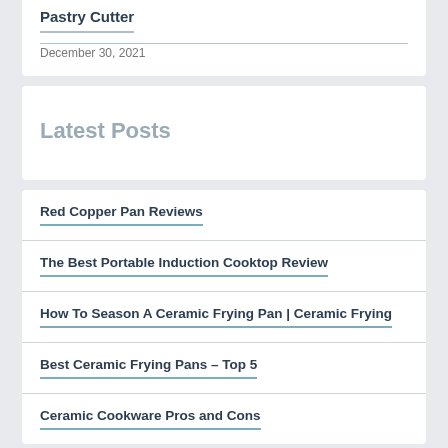Pastry Cutter
December 30, 2021
Latest Posts
Red Copper Pan Reviews
The Best Portable Induction Cooktop Review
How To Season A Ceramic Frying Pan | Ceramic Frying
Best Ceramic Frying Pans – Top 5
Ceramic Cookware Pros and Cons